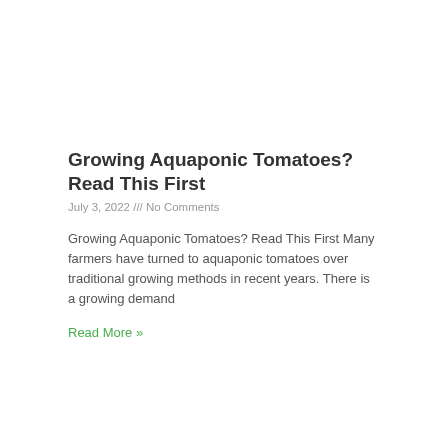Growing Aquaponic Tomatoes? Read This First
July 3, 2022 /// No Comments
Growing Aquaponic Tomatoes? Read This First Many farmers have turned to aquaponic tomatoes over traditional growing methods in recent years. There is a growing demand
Read More »